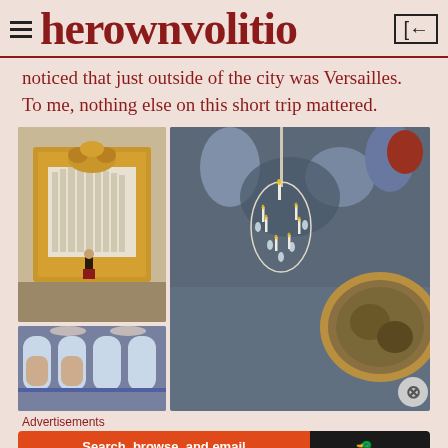herownvolitio
noticed that just outside of the city was Versailles. To me, nothing else on this short trip mattered.
[Figure (photo): Three photos from Versailles: top-left shows an ornate golden gate organ with a person standing below; bottom-left shows crystal chandeliers and arched windows; right shows a crystal chandelier with lit candles against a painted baroque ceiling with cherubs.]
Advertisements
[Figure (screenshot): DuckDuckGo advertisement banner: 'Search, browse, and email with more privacy. All in One Free App' with DuckDuckGo duck logo on dark background.]